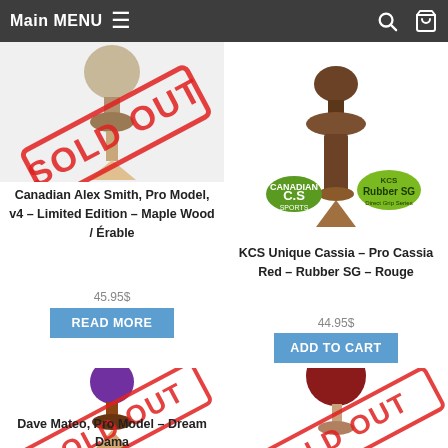Main MENU
[Figure (illustration): Kendama toy product image with SOLD OUT stamp overlay - Canadian Alex Smith Pro Model v4 Limited Edition Maple Wood]
Canadian Alex Smith, Pro Model, v4 – Limited Edition – Maple Wood / Érable
45.95$
READ MORE
[Figure (illustration): KCS Unique Cassia kendama toy with CS and KCS Rubber SG logos]
KCS Unique Cassia – Pro Cassia Red – Rubber SG – Rouge
44.95$
ADD TO CART
[Figure (illustration): Kendama toy with purple ball - Dave Mateo Pro Model Dream Dama with SOLD OUT stamp]
Dave Mateo, Pro Model – Dream Dama
45.95$
[Figure (illustration): Kendama toy with dark red/maroon ball, partially shown with SOLD OUT stamp]